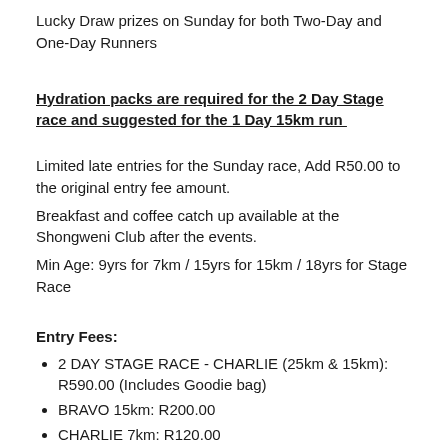Lucky Draw prizes on Sunday for both Two-Day and One-Day Runners
Hydration packs are required for the 2 Day Stage race and suggested for the 1 Day 15km run
Limited late entries for the Sunday race, Add R50.00 to the original entry fee amount.
Breakfast and coffee catch up available at the Shongweni Club after the events.
Min Age: 9yrs for 7km / 15yrs for 15km / 18yrs for Stage Race
Entry Fees:
2 DAY STAGE RACE - CHARLIE (25km & 15km): R590.00 (Includes Goodie bag)
BRAVO 15km: R200.00
CHARLIE 7km: R120.00